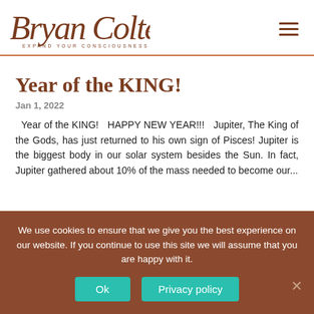[Figure (logo): Bryan Colter cursive signature logo with tagline 'EXPAND YOUR CONSCIOUSNESS']
Year of the KING!
Jan 1, 2022
Year of the KING!   HAPPY NEW YEAR!!!   Jupiter, The King of the Gods, has just returned to his own sign of Pisces! Jupiter is the biggest body in our solar system besides the Sun. In fact, Jupiter gathered about 10% of the mass needed to become our...
We use cookies to ensure that we give you the best experience on our website. If you continue to use this site we will assume that you are happy with it.